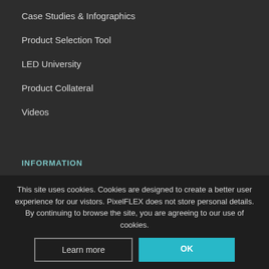Case Studies & Infographics
Product Selection Tool
LED University
Product Collateral
Videos
INFORMATION
This site uses cookies. Cookies are designed to create a better user experience for our vistors. PixelFLEX does not store personal details. By continuing to browse the site, you are agreeing to our use of cookies.
Learn more
OK